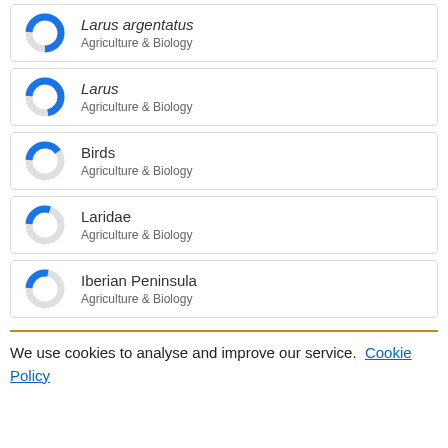Larus argentatus
Agriculture & Biology
Larus
Agriculture & Biology
Birds
Agriculture & Biology
Laridae
Agriculture & Biology
Iberian Peninsula
Agriculture & Biology
We use cookies to analyse and improve our service. Cookie Policy